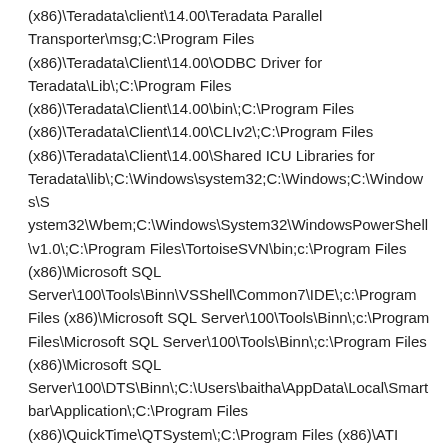(x86)\Teradata\client\14.00\Teradata Parallel Transporter\msg;C:\Program Files (x86)\Teradata\Client\14.00\ODBC Driver for Teradata\Lib\;C:\Program Files (x86)\Teradata\Client\14.00\bin\;C:\Program Files (x86)\Teradata\Client\14.00\CLIv2\;C:\Program Files (x86)\Teradata\Client\14.00\Shared ICU Libraries for Teradata\lib\;C:\Windows\system32;C:\Windows;C:\Windows\System32\Wbem;C:\Windows\System32\WindowsPowerShell\v1.0\;C:\Program Files\TortoiseSVN\bin;c:\Program Files (x86)\Microsoft SQL Server\100\Tools\Binn\VSShell\Common7\IDE\;c:\Program Files (x86)\Microsoft SQL Server\100\Tools\Binn\;c:\Program Files\Microsoft SQL Server\100\Tools\Binn\;c:\Program Files (x86)\Microsoft SQL Server\100\DTS\Binn\;C:\Users\baitha\AppData\Local\Smartbar\Application\;C:\Program Files (x86)\QuickTime\QTSystem\;C:\Program Files (x86)\ATI Technologies\ATI.ACE\Core-Static;C:\Program Files